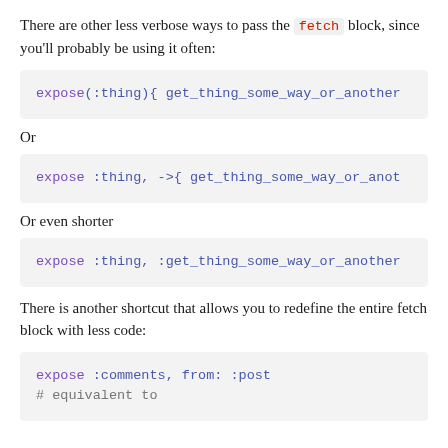There are other less verbose ways to pass the fetch block, since you'll probably be using it often:
expose(:thing){ get_thing_some_way_or_another
Or
expose :thing, ->{ get_thing_some_way_or_anot
Or even shorter
expose :thing, :get_thing_some_way_or_another
There is another shortcut that allows you to redefine the entire fetch block with less code:
expose :comments, from: :post
# equivalent to